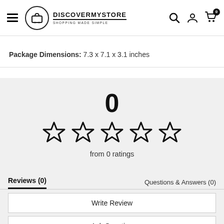DISCOVERMYSTORE — SHOPPING MADE SIMPLE
Package Dimensions: 7.3 x 7.1 x 3.1 inches
[Figure (other): Star rating widget showing 0 stars out of 5 empty stars, with rating number 0 and text 'from 0 ratings']
Reviews (0)    Questions & Answers (0)
Write Review
Ask Question